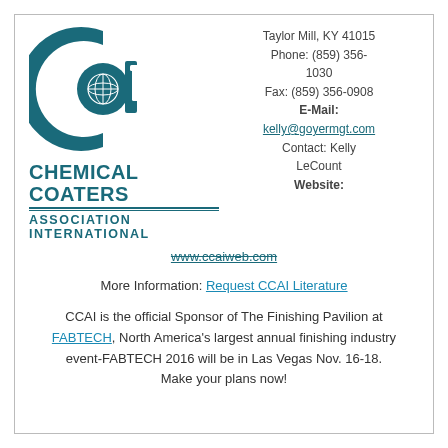[Figure (logo): Chemical Coaters Association International (CCAI) logo — teal circular C shape with globe and 'i' letterform inside]
CHEMICAL COATERS ASSOCIATION INTERNATIONAL
Taylor Mill, KY 41015
Phone: (859) 356-1030
Fax: (859) 356-0908
E-Mail:
kelly@goyermgt.com
Contact: Kelly LeCount
Website:
www.ccaiweb.com
More Information: Request CCAI Literature
CCAI is the official Sponsor of The Finishing Pavilion at FABTECH, North America's largest annual finishing industry event-FABTECH 2016 will be in Las Vegas Nov. 16-18.
Make your plans now!